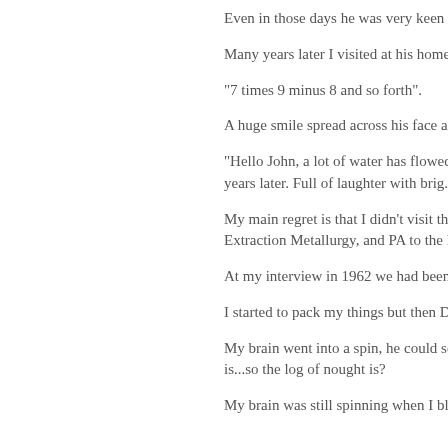Even in those days he was very keen on e... the class and in his usual strong voice,- "1... !
Many years later I visited at his home in S... at first.
"7 times 9 minus 8 and so forth".
A huge smile spread across his face and i...
"Hello John, a lot of water has flowed unde... back to the days when his daughter dance... some years later. Full of laughter with brig... he never flinched. He then moved to Garth...
My main regret is that I didn't visit the scho... learn one of his students was a Senior Res... Extraction Metallurgy, and PA to the late P... man, but a gentle giant.
At my interview in 1962 we had been talkin... the job.
I started to pack my things but then Denys...
My brain went into a spin, he could see tha... many, " Well, he said, you know the log of ... is...so the log of nought is?
My brain was still spinning when I blurted...